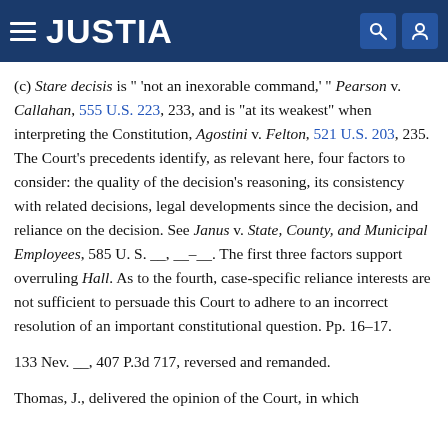JUSTIA
(c) Stare decisis is " 'not an inexorable command,' " Pearson v. Callahan, 555 U.S. 223, 233, and is "at its weakest" when interpreting the Constitution, Agostini v. Felton, 521 U.S. 203, 235. The Court's precedents identify, as relevant here, four factors to consider: the quality of the decision's reasoning, its consistency with related decisions, legal developments since the decision, and reliance on the decision. See Janus v. State, County, and Municipal Employees, 585 U. S. __, __–__. The first three factors support overruling Hall. As to the fourth, case-specific reliance interests are not sufficient to persuade this Court to adhere to an incorrect resolution of an important constitutional question. Pp. 16–17.
133 Nev. __, 407 P.3d 717, reversed and remanded.
Thomas, J., delivered the opinion of the Court, in which